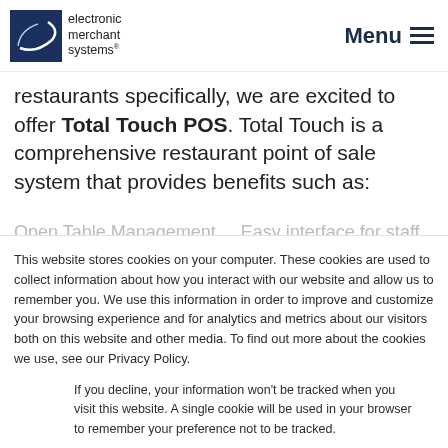electronic merchant systems | Menu
restaurants specifically, we are excited to offer Total Touch POS. Total Touch is a comprehensive restaurant point of sale system that provides benefits such as:
This website stores cookies on your computer. These cookies are used to collect information about how you interact with our website and allow us to remember you. We use this information in order to improve and customize your browsing experience and for analytics and metrics about our visitors both on this website and other media. To find out more about the cookies we use, see our Privacy Policy.
If you decline, your information won't be tracked when you visit this website. A single cookie will be used in your browser to remember your preference not to be tracked.